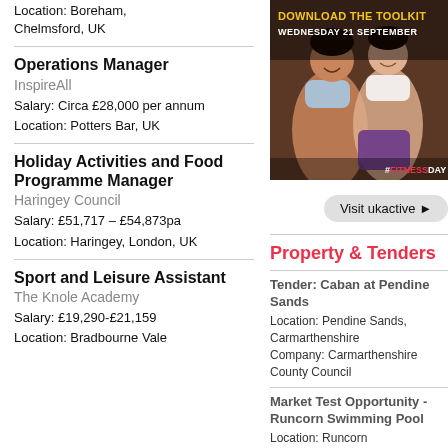Location: Boreham, Chelmsford, UK
Operations Manager
InspireAll
Salary: Circa £28,000 per annum
Location: Potters Bar, UK
Holiday Activities and Food Programme Manager
Haringey Council
Salary: £51,717 – £54,873pa
Location: Haringey, London, UK
Sport and Leisure Assistant
The Knole Academy
Salary: £19,290-£21,159
Location: Bradbourne Vale
[Figure (photo): Advertisement image showing two women exercising, with text 'DOWNLOAD THE TOOLKIT WEDNESDAY 21 SEPTEMBER' and '#FITNESSDAY']
Visit ukactive ▶
Property & Tenders
Tender: Caban at Pendine Sands
Location: Pendine Sands, Carmarthenshire
Company: Carmarthenshire County Council
Market Test Opportunity - Runcorn Swimming Pool
Location: Runcorn
Company: Halton Borough